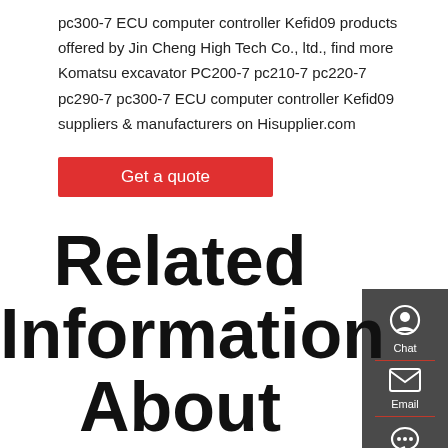pc300-7 ECU computer controller Kefid09 products offered by Jin Cheng High Tech Co., ltd., find more Komatsu excavator PC200-7 pc210-7 pc220-7 pc290-7 pc300-7 ECU computer controller Kefid09 suppliers & manufacturers on Hisupplier.com
[Figure (screenshot): Red 'Get a quote' button]
[Figure (infographic): Dark grey sidebar with Chat, Email, and Contact icons and labels]
Related Information About Excavator PC300-7 ECM